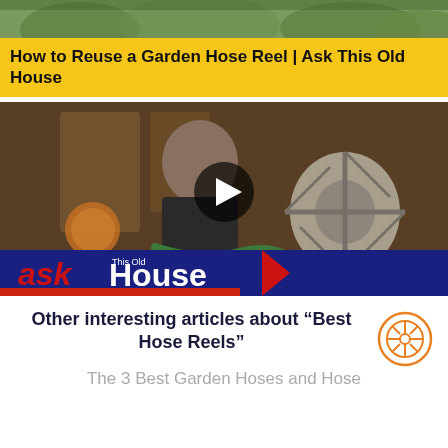[Figure (photo): Top partial image showing green foliage/garden background, cropped from top]
How to Reuse a Garden Hose Reel | Ask This Old House
[Figure (screenshot): Video thumbnail showing a man in a workshop holding a garden hose reel with the Ask This Old House logo at the bottom, and a play button overlay in the center]
Other interesting articles about “Best Hose Reels”
The 3 Best Garden Hoses and Hose